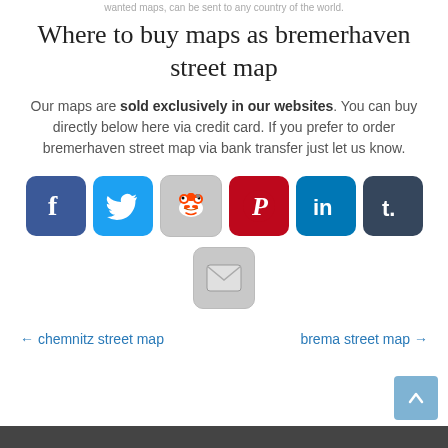wanted maps, can be sent to any country of the world.
Where to buy maps as bremerhaven street map
Our maps are sold exclusively in our websites. You can buy directly below here via credit card. If you prefer to order bremerhaven street map via bank transfer just let us know.
[Figure (infographic): Row of social media icons: Facebook, Twitter, Reddit, Pinterest, LinkedIn, Tumblr, and an email icon below]
← chemnitz street map       brema street map →